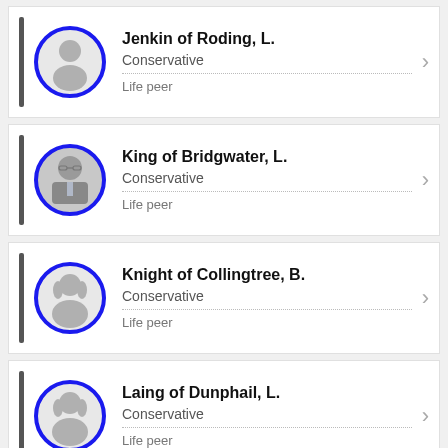Jenkin of Roding, L. | Conservative | Life peer
King of Bridgwater, L. | Conservative | Life peer
Knight of Collingtree, B. | Conservative | Life peer
Laing of Dunphail, L. | Conservative | Life peer